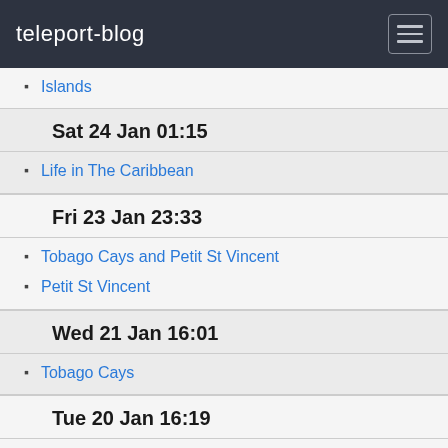teleport-blog
Islands
Sat 24 Jan 01:15
Life in The Caribbean
Fri 23 Jan 23:33
Tobago Cays and Petit St Vincent
Petit St Vincent
Wed 21 Jan 16:01
Tobago Cays
Tue 20 Jan 16:19
Mayors and Tobago Cays
The Grenadines
Life on board
Bequia
Fri 16 Jan 18:08
Life on board
Bequia - the Grenadines
Tue 13 Jan 19:48